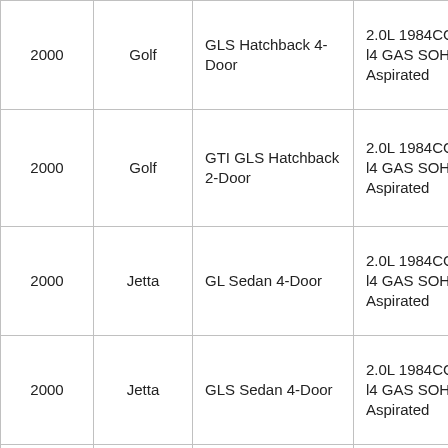| 2000 | Golf | GLS Hatchback 4-Door | 2.0L 1984CC 121Cu. In. l4 GAS SOHC Naturally Aspirated |
| 2000 | Golf | GTI GLS Hatchback 2-Door | 2.0L 1984CC 121Cu. In. l4 GAS SOHC Naturally Aspirated |
| 2000 | Jetta | GL Sedan 4-Door | 2.0L 1984CC 121Cu. In. l4 GAS SOHC Naturally Aspirated |
| 2000 | Jetta | GLS Sedan 4-Door | 2.0L 1984CC 121Cu. In. l4 GAS SOHC Naturally Aspirated |
| 1999 | Beetle | GL Hatchback 2-Door | 2.0L 1984CC 121Cu. In. l4 GAS SOHC Naturally Aspirated |
| 1999 | Beetle | GLS Hatchback … | 2.0L 1984CC 121Cu. In. l4 … |